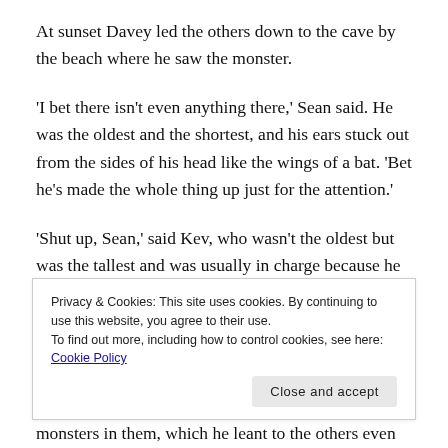At sunset Davey led the others down to the cave by the beach where he saw the monster.
'I bet there isn't even anything there,' Sean said. He was the oldest and the shortest, and his ears stuck out from the sides of his head like the wings of a bat. 'Bet he's made the whole thing up just for the attention.'
'Shut up, Sean,' said Kev, who wasn't the oldest but was the tallest and was usually in charge because he was bigger than the others and already had hairs sprouting in the places of his body that he and the others th—
Privacy & Cookies: This site uses cookies. By continuing to use this website, you agree to their use.
To find out more, including how to control cookies, see here: Cookie Policy
monsters in them, which he leant to the others even